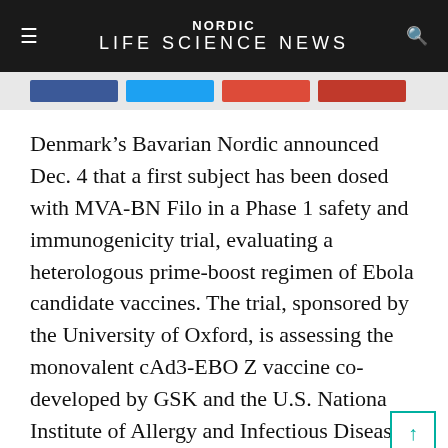NORDIC LIFE SCIENCE NEWS
[Figure (other): Social sharing buttons bar: Facebook (blue), Twitter (light blue), Google+ (red-orange), LinkedIn (red)]
Denmark's Bavarian Nordic announced Dec. 4 that a first subject has been dosed with MVA-BN Filo in a Phase 1 safety and immunogenicity trial, evaluating a heterologous prime-boost regimen of Ebola candidate vaccines. The trial, sponsored by the University of Oxford, is assessing the monovalent cAd3-EBO Z vaccine co-developed by GSK and the U.S. National Institute of Allergy and Infectious Diseases